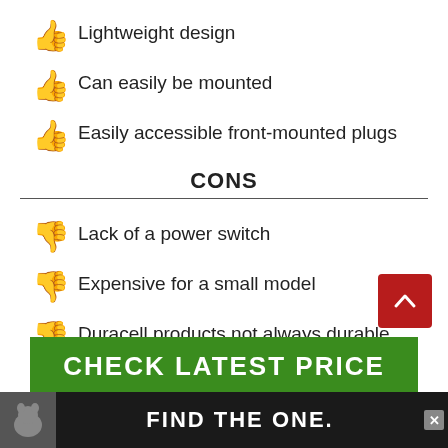Lightweight design
Can easily be mounted
Easily accessible front-mounted plugs
CONS
Lack of a power switch
Expensive for a small model
Duracell products not always durable
CHECK LATEST PRICE
[Figure (infographic): Advertisement bar at bottom with a dog image and text FIND THE ONE]